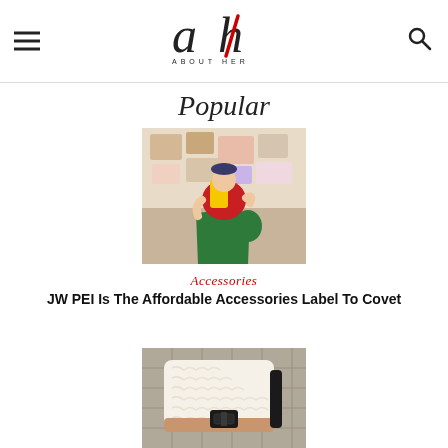About Her — navigation header with hamburger menu, logo, and search icon
Popular
[Figure (photo): Woman in red top and green skirt taking a mirror selfie with a yellow phone, wearing a beret, in a colourful room]
Accessories
JW PEI Is The Affordable Accessories Label To Covet
[Figure (photo): Fluffy cream-coloured handbag with black buckle hardware on a tiled surface]